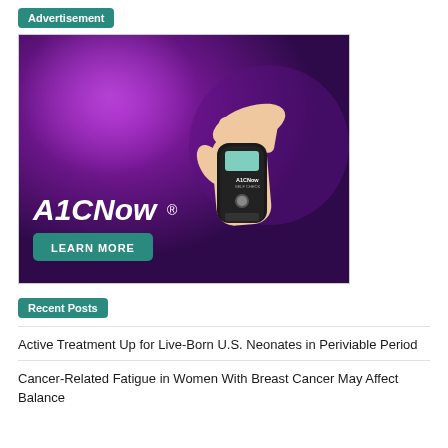Advertisement
[Figure (photo): A1CNow advertisement image showing a hand holding an A1CNow Self Check device against a purple background, with 'A1CNow®' text and a teal 'LEARN MORE' button.]
Recent Posts
Active Treatment Up for Live-Born U.S. Neonates in Periviable Period
Cancer-Related Fatigue in Women With Breast Cancer May Affect Balance